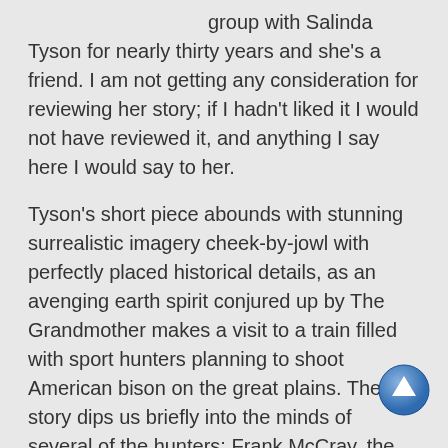group with Salinda Tyson for nearly thirty years and she's a friend. I am not getting any consideration for reviewing her story; if I hadn't liked it I would not have reviewed it, and anything I say here I would say to her.
Tyson's short piece abounds with stunning surrealistic imagery cheek-by-jowl with perfectly placed historical details, as an avenging earth spirit conjured up by The Grandmother makes a visit to a train filled with sport hunters planning to shoot American bison on the great plains. The story dips us briefly into the minds of several of the hunters: Frank McCray, the gambler; Randall give-the-beast-a-chance Stevens, who lives for challenge; Lydia Mae Brinkman, known as a “Diana” after the mythical huntress. The Grandmother’s servant, who travels though time as well as space, rides after and overtakes the train, causing a literal change of heart for